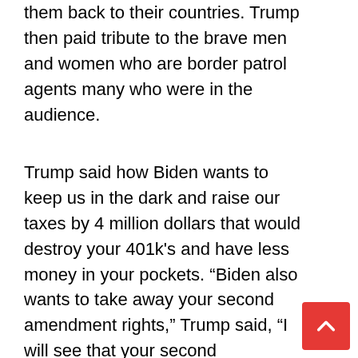them back to their countries. Trump then paid tribute to the brave men and women who are border patrol agents many who were in the audience.
Trump said how Biden wants to keep us in the dark and raise our taxes by 4 million dollars that would destroy your 401k's and have less money in your pockets. “Biden also wants to take away your second amendment rights,” Trump said, “I will see that your second amendment rights are always protected. Biden’s plan would destroy America and no one would be safe in Biden’s America,” Trump stated. Trump also touted how we are almost completed with the border wall and Biden wants to take it down, “The democrat party